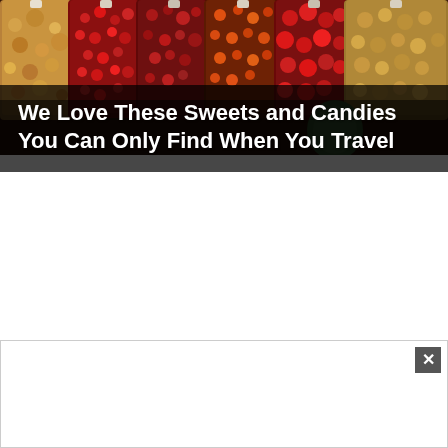[Figure (photo): Colorful bags of sweets, candies, and nuts displayed in a market, showing red berries, orange fruits, dried cranberries, nuts, and mixed candy in transparent plastic bags arranged side by side.]
We Love These Sweets and Candies You Can Only Find When You Travel
[Figure (other): Advertisement box with a close/dismiss button (X) in the top right corner. The ad area is mostly blank/white.]